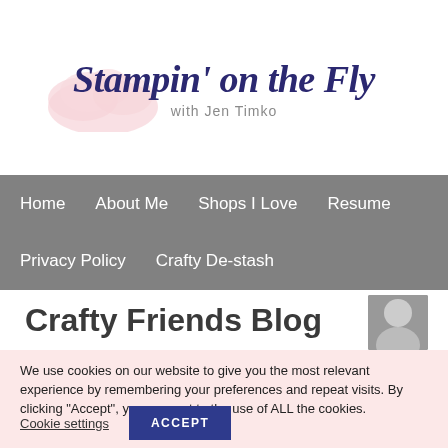[Figure (logo): Stampin' on the Fly with Jen Timko blog logo with pink cloud watercolor background]
Home   About Me   Shops I Love   Resume   Privacy Policy   Crafty De-stash
Crafty Friends Blog
We use cookies on our website to give you the most relevant experience by remembering your preferences and repeat visits. By clicking “Accept”, you consent to the use of ALL the cookies.
Cookie settings   ACCEPT